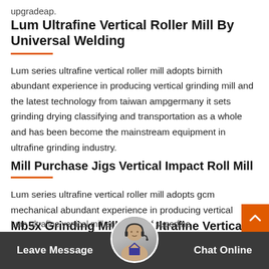upgradeap.
Lum Ultrafine Vertical Roller Mill By Universal Welding
Lum series ultrafine vertical roller mill adopts birnith abundant experience in producing vertical grinding mill and the latest technology from taiwan ampgermany it sets grinding drying classifying and transportation as a whole and has been become the mainstream equipment in ultrafine grinding industry.
Mill Purchase Jigs Vertical Impact Roll Mill
Lum series ultrafine vertical roller mill adopts gcm mechanical abundant experience in producing vertical
Mb5x Grinding Mill Lum Ultrafine Vertical Mill
Lum ultrafine vertical mill anew type of superfine
Leave Message   Chat Online